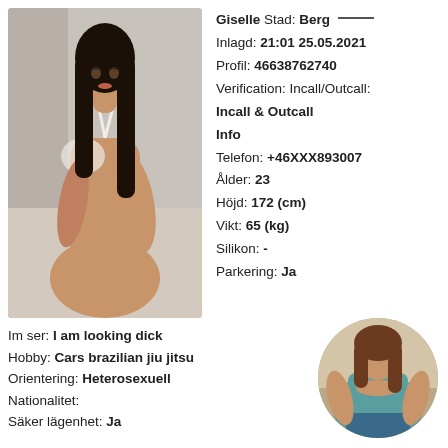[Figure (photo): Woman with dark hair wearing white lingerie, posed with back turned and looking over shoulder]
Giselle Stad: Berg
Inlagd: 21:01 25.05.2021
Profil: 46638762740
Verification: Incall/Outcall:
Incall & Outcall
Info
Telefon: +46XXX893007
Ålder: 23
Höjd: 172 (cm)
Vikt: 65 (kg)
Silikon: -
Parkering: Ja
Im ser: I am looking dick
Hobby: Cars brazilian jiu jitsu
Orientering: Heterosexuell
Nationalitet:
Säker lägenhet: Ja
[Figure (photo): Circular thumbnail photo of a woman in teal top and denim shorts, posed from behind]